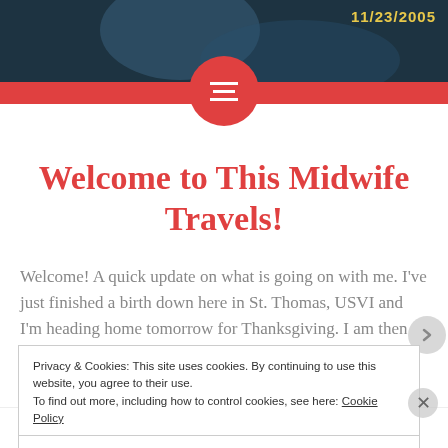[Figure (photo): Dark blue-toned header image showing a partial figure, with a date overlay in yellow reading 11/23/2005]
Welcome to This Midwife Travels!
Welcome! A quick update on what is going on with me. I've just finished a birth down here in St. Thomas, USVI and I'm heading home tomorrow for Thanksgiving. I am then back down here for a
Privacy & Cookies: This site uses cookies. By continuing to use this website, you agree to their use.
To find out more, including how to control cookies, see here: Cookie Policy
Close and accept